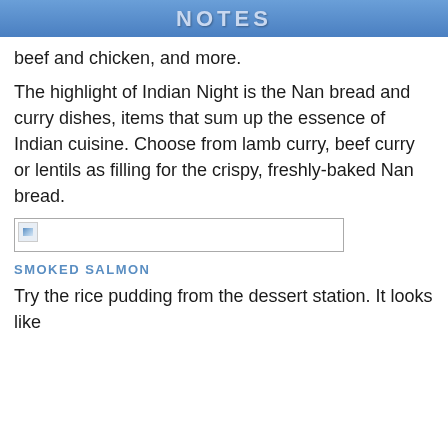NOTES
beef and chicken, and more.
The highlight of Indian Night is the Nan bread and curry dishes, items that sum up the essence of Indian cuisine. Choose from lamb curry, beef curry or lentils as filling for the crispy, freshly-baked Nan bread.
[Figure (photo): A broken/missing image placeholder shown as a small icon with a border box]
SMOKED SALMON
Try the rice pudding from the dessert station. It looks like